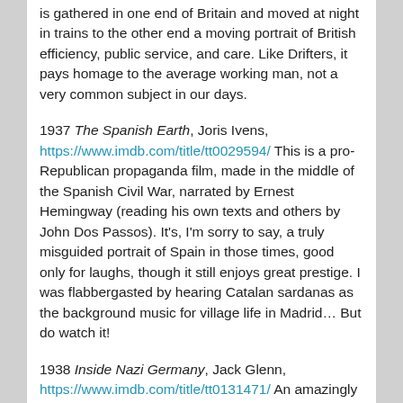is gathered in one end of Britain and moved at night in trains to the other end a moving portrait of British efficiency, public service, and care. Like Drifters, it pays homage to the average working man, not a very common subject in our days.
1937 The Spanish Earth, Joris Ivens, https://www.imdb.com/title/tt0029594/ This is a pro-Republican propaganda film, made in the middle of the Spanish Civil War, narrated by Ernest Hemingway (reading his own texts and others by John Dos Passos). It's, I'm sorry to say, a truly misguided portrait of Spain in those times, good only for laughs, though it still enjoys great prestige. I was flabbergasted by hearing Catalan sardanas as the background music for village life in Madrid... But do watch it!
1938 Inside Nazi Germany, Jack Glenn, https://www.imdb.com/title/tt0131471/ An amazingly brave, bold description of Nazi Germany released twenty months before the beginning of WWII, which shows...